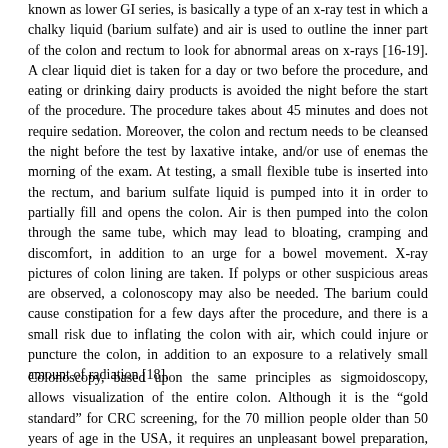known as lower GI series, is basically a type of an x-ray test in which a chalky liquid (barium sulfate) and air is used to outline the inner part of the colon and rectum to look for abnormal areas on x-rays [16-19]. A clear liquid diet is taken for a day or two before the procedure, and eating or drinking dairy products is avoided the night before the start of the procedure. The procedure takes about 45 minutes and does not require sedation. Moreover, the colon and rectum needs to be cleansed the night before the test by laxative intake, and/or use of enemas the morning of the exam. At testing, a small flexible tube is inserted into the rectum, and barium sulfate liquid is pumped into it in order to partially fill and opens the colon. Air is then pumped into the colon through the same tube, which may lead to bloating, cramping and discomfort, in addition to an urge for a bowel movement. X-ray pictures of colon lining are taken. If polyps or other suspicious areas are observed, a colonoscopy may also be needed. The barium could cause constipation for a few days after the procedure, and there is a small risk due to inflating the colon with air, which could injure or puncture the colon, in addition to an exposure to a relatively small amount of radiation [18].
Colonoscopy, based upon the same principles as sigmoidoscopy, allows visualization of the entire colon. Although it is the “gold standard” for CRC screening, for the 70 million people older than 50 years of age in the USA, it requires an unpleasant bowel preparation, the test itself